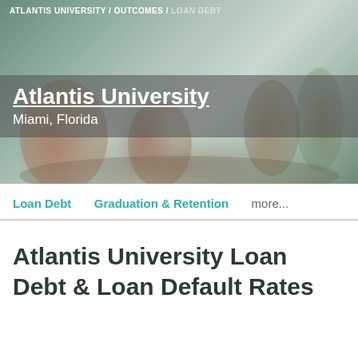ATLANTIS UNIVERSITY / OUTCOMES / LOAN DEBT
[Figure (photo): Students on a university campus, one student reading a textbook, others walking in the background]
Atlantis University
Miami, Florida
Loan Debt   Graduation & Retention   more...
Atlantis University Loan Debt & Loan Default Rates